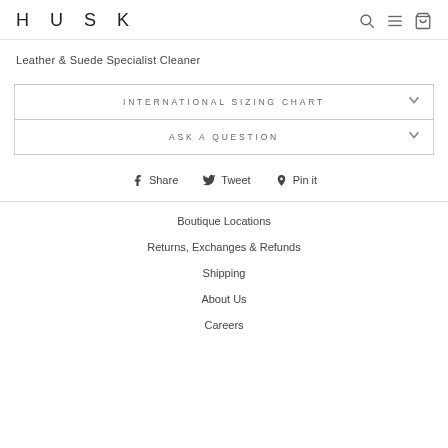HUSK
Leather & Suede Specialist Cleaner
INTERNATIONAL SIZING CHART
ASK A QUESTION
Share   Tweet   Pin it
Boutique Locations
Returns, Exchanges & Refunds
Shipping
About Us
Careers